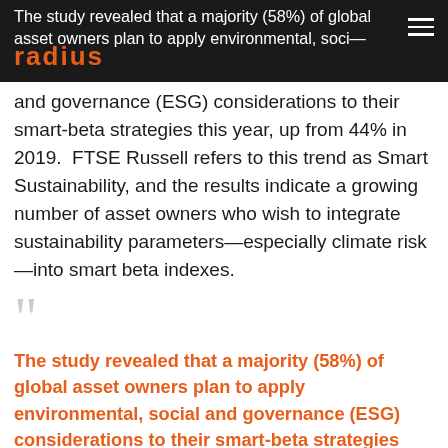The study revealed that a majority (58%) of global asset owners plan to apply environmental, social
and governance (ESG) considerations to their smart-beta strategies this year, up from 44% in 2019.  FTSE Russell refers to this trend as Smart Sustainability, and the results indicate a growing number of asset owners who wish to integrate sustainability parameters—especially climate risk—into smart beta indexes.
“The study revealed that a majority (58%) of global asset owners plan to apply environmental, social and governance (ESG) considerations to their smart-beta strategies this year, up from 44% in 2019.”